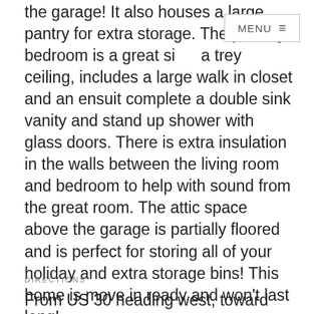the garage! It also houses a large pantry for extra storage. The primary bedroom is a great size, a trey ceiling, includes a large walk in closet and an ensuit complete a double sink vanity and stand up shower with glass doors. There is extra insulation in the walls between the living room and bedroom to help with sound from the great room. The attic space above the garage is partially floored and is perfect for storing all of your holiday and extra storage bins! This home is move in ready and won't last long!
DIRECTIONS
From US 30 heading west, toward Warsaw, turn left onto Lincolnway, then immediately right onto Depoy Drive then left into Deer Chase Addition, then right onto Stone Ridge Drive, home will be on the right.